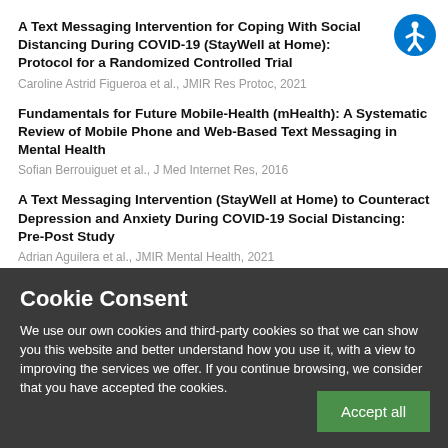A Text Messaging Intervention for Coping With Social Distancing During COVID-19 (StayWell at Home): Protocol for a Randomized Controlled Trial
Caroline Astrid Figueroa et al., JMIR Res Protoc, 2021
Fundamentals for Future Mobile-Health (mHealth): A Systematic Review of Mobile Phone and Web-Based Text Messaging in Mental Health
Sofian Berrouiguet et al., J Med Internet Res, 2016
A Text Messaging Intervention (StayWell at Home) to Counteract Depression and Anxiety During COVID-19 Social Distancing: Pre-Post Study
Adrian Aguilera et al., JMIR Mental Health, 2021
Cookie Consent
We use our own cookies and third-party cookies so that we can show you this website and better understand how you use it, with a view to improving the services we offer. If you continue browsing, we consider that you have accepted the cookies.